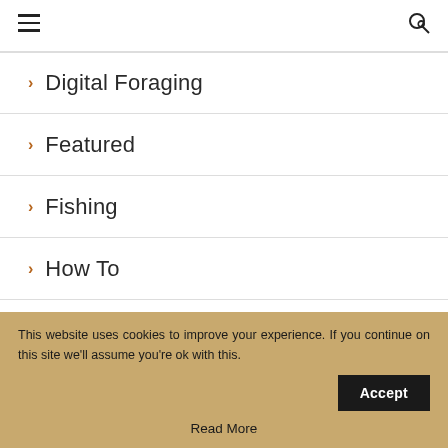Navigation menu header with hamburger and search icons
> Digital Foraging
> Featured
> Fishing
> How To
> Mushrooms
> Recipe
This website uses cookies to improve your experience. If you continue on this site we'll assume you're ok with this.
Accept
Read More